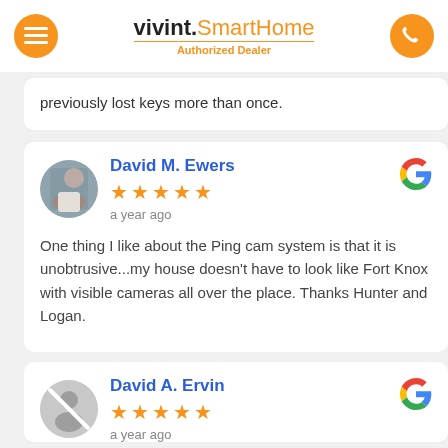vivint.SmartHome Authorized Dealer
previously lost keys more than once.
David M. Ewers — 5 stars — a year ago — One thing I like about the Ping cam system is that it is unobtrusive...my house doesn't have to look like Fort Knox with visible cameras all over the place. Thanks Hunter and Logan.
David A. Ervin — 5 stars — a year ago